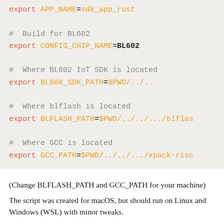[Figure (screenshot): Code block showing shell script exports for BL602 IoT SDK build configuration. Lines include: export APP_NAME=sdk_app_rust, # Build for BL602, export CONFIG_CHIP_NAME=BL602, # Where BL602 IoT SDK is located, export BL60X_SDK_PATH=$PWD/../.., # Where blflash is located, export BLFLASH_PATH=$PWD/../../.../blfla..., # Where GCC is located, export GCC_PATH=$PWD/../../.../xpack-risc...]
(Change BLFLASH_PATH and GCC_PATH for your machine)
The script was created for macOS, but should run on Linux and Windows (WSL) with minor tweaks.